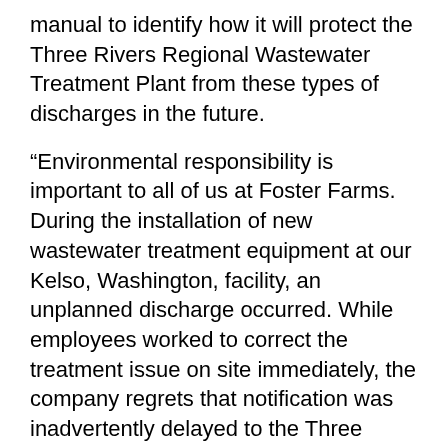manual to identify how it will protect the Three Rivers Regional Wastewater Treatment Plant from these types of discharges in the future.
“Environmental responsibility is important to all of us at Foster Farms. During the installation of new wastewater treatment equipment at our Kelso, Washington, facility, an unplanned discharge occurred. While employees worked to correct the treatment issue on site immediately, the company regrets that notification was inadvertently delayed to the Three Rivers Regional Wastewater Treatment Plant. Foster Farms has an excellent record of permit compliance and self-reporting. The company is reinforcing notification procedures throughout facility operations. We have also taken steps to prevent future wastewater issues. Foster Farms intends to pay the penalty,” Foster Farms said in a statement.